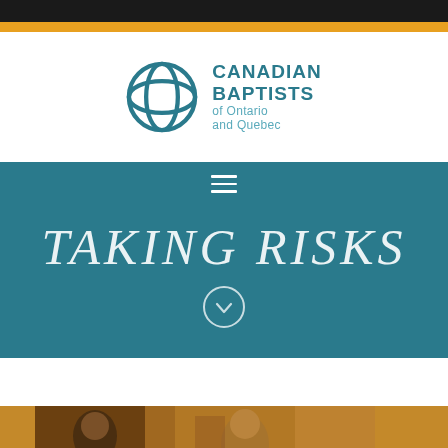[Figure (logo): Canadian Baptists of Ontario and Quebec logo — teal globe/cross symbol with organization name]
[Figure (infographic): Teal banner with hamburger menu icon, italic title TAKING RISKS, and a circular down-arrow icon]
TAKING RISKS
[Figure (photo): Partial view of a classical painting showing figures including an elderly bearded man and a younger person, warm amber and brown tones]